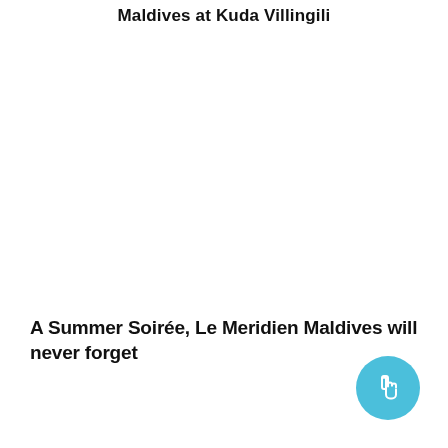Maldives at Kuda Villingili
A Summer Soirée, Le Meridien Maldives will never forget
[Figure (other): A circular floating action button with a pointing hand/cursor icon on a light blue background, positioned in the bottom-right corner of the page.]